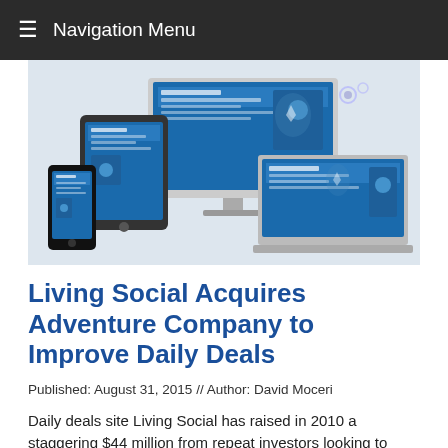Navigation Menu
[Figure (screenshot): Hero image showing responsive web design across multiple devices (smartphone, tablet, desktop monitor, laptop) with blue-themed website mockups displayed on screens]
Living Social Acquires Adventure Company to Improve Daily Deals
Published: August 31, 2015 // Author: David Moceri
Daily deals site Living Social has raised in 2010 a staggering $44 million from repeat investors looking to capitalize on the group buying phenomena. Today, the Groupon